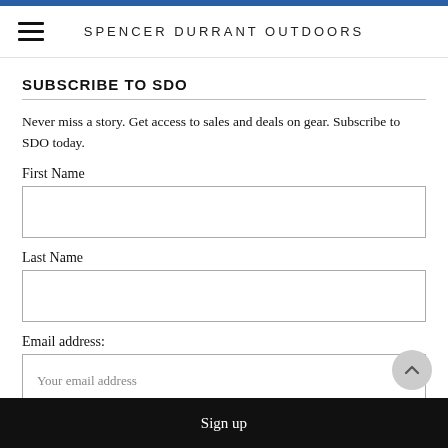SPENCER DURRANT OUTDOORS
SUBSCRIBE TO SDO
Never miss a story. Get access to sales and deals on gear. Subscribe to SDO today.
First Name
Last Name
Email address:
Your email address
Sign up